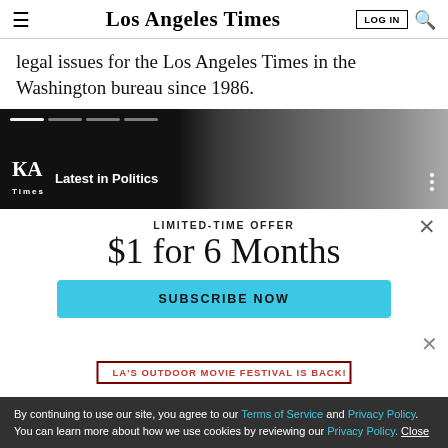Los Angeles Times
legal issues for the Los Angeles Times in the Washington bureau since 1986.
[Figure (screenshot): LA Times promo banner with dark background, man's face, LA Times logo and 'Latest in Politics' label]
LIMITED-TIME OFFER
$1 for 6 Months
SUBSCRIBE NOW
By continuing to use our site, you agree to our Terms of Service and Privacy Policy. You can learn more about how we use cookies by reviewing our Privacy Policy. Close
LA'S OUTDOOR MOVIE FESTIVAL IS BACK!